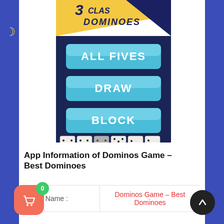[Figure (screenshot): App screenshot for 'Dominos Game - Best Dominoes' showing game modes: All Fives, Draw, Block, with domino tiles at bottom, on navy/yellow background]
App Information of Dominos Game – Best Dominoes
| App Name : | Dominos Game – Best Dominoes |
| --- | --- |